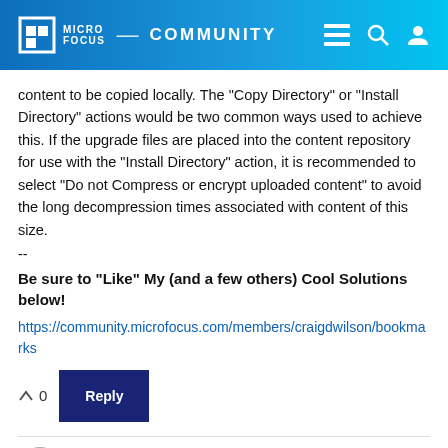MICRO FOCUS COMMUNITY
content to be copied locally. The "Copy Directory" or "Install Directory" actions would be two common ways used to achieve this. If the upgrade files are placed into the content repository for use with the "Install Directory" action, it is recommended to select "Do not Compress or encrypt uploaded content" to avoid the long decompression times associated with content of this size.
--
Be sure to "Like" My (and a few others) Cool Solutions below!
https://community.microfocus.com/members/craigdwilson/bookmarks
0  Reply
netstudio   over 4 years ago
I have a question